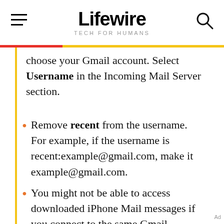Lifewire — TECH FOR HUMANS
choose your Gmail account. Select Username in the Incoming Mail Server section.
Remove recent from the username. For example, if the username is recent:example@gmail.com, make it example@gmail.com.
You might not be able to access downloaded iPhone Mail messages if you connect to the same Gmail